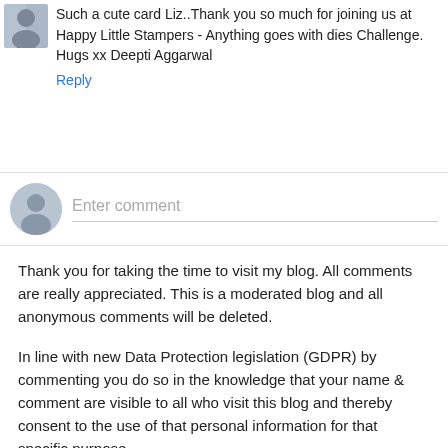Such a cute card Liz..Thank you so much for joining us at Happy Little Stampers - Anything goes with dies Challenge. Hugs xx Deepti Aggarwal
Reply
[Figure (other): Comment input field with default user avatar icon and placeholder text 'Enter comment']
Thank you for taking the time to visit my blog. All comments are really appreciated. This is a moderated blog and all anonymous comments will be deleted.
In line with new Data Protection legislation (GDPR) by commenting you do so in the knowledge that your name & comment are visible to all who visit this blog and thereby consent to the use of that personal information for that specific purpose.